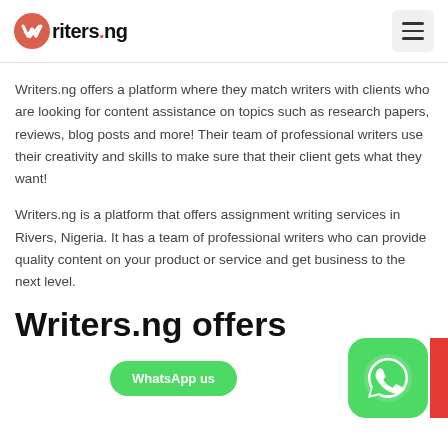Writers.ng
Writers.ng offers a platform where they match writers with clients who are looking for content assistance on topics such as research papers, reviews, blog posts and more! Their team of professional writers use their creativity and skills to make sure that their client gets what they want!
Writers.ng is a platform that offers assignment writing services in Rivers, Nigeria. It has a team of professional writers who can provide quality content on your product or service and get business to the next level.
Writers.ng offers